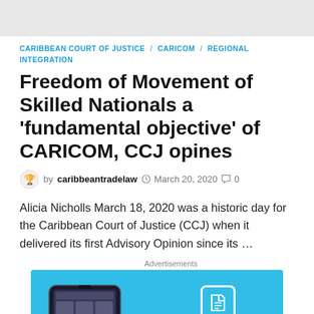CARIBBEAN COURT OF JUSTICE / CARICOM / REGIONAL INTEGRATION
Freedom of Movement of Skilled Nationals a 'fundamental objective' of CARICOM, CCJ opines
by caribbeantradelaw  March 20, 2020  0
Alicia Nicholls March 18, 2020 was a historic day for the Caribbean Court of Justice (CCJ) when it delivered its first Advisory Opinion since its …
[Figure (other): Day One app advertisement with cyan/blue background showing a smartphone and the Day One logo]